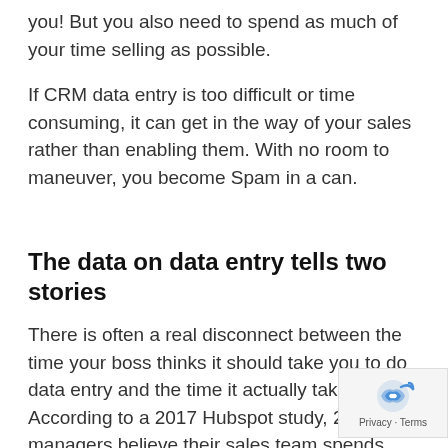you! But you also need to spend as much of your time selling as possible.
If CRM data entry is too difficult or time consuming, it can get in the way of your sales rather than enabling them. With no room to maneuver, you become Spam in a can.
The data on data entry tells two stories
There is often a real disconnect between the time your boss thinks it should take you to do data entry and the time it actually takes. According to a 2017 Hubspot study, 26% of managers believe their sales team spends less than 30 minutes per